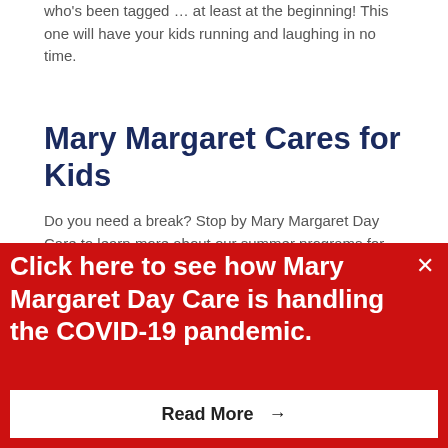who's been tagged … at least at the beginning! This one will have your kids running and laughing in no time.
Mary Margaret Cares for Kids
Do you need a break? Stop by Mary Margaret Day Care to learn more about our summer programs for kids.
Filed Under: Crafts & Projects
Celebrate Spring with
Click here to see how Mary Margaret Day Care is handling the COVID-19 pandemic.
Read More →